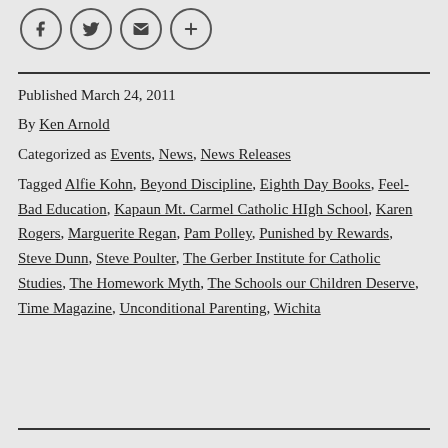[Figure (other): Social sharing icons: Facebook, Twitter, Email, Add/Plus — circular outlined icons in a row]
Published March 24, 2011
By Ken Arnold
Categorized as Events, News, News Releases
Tagged Alfie Kohn, Beyond Discipline, Eighth Day Books, Feel-Bad Education, Kapaun Mt. Carmel Catholic HIgh School, Karen Rogers, Marguerite Regan, Pam Polley, Punished by Rewards, Steve Dunn, Steve Poulter, The Gerber Institute for Catholic Studies, The Homework Myth, The Schools our Children Deserve, Time Magazine, Unconditional Parenting, Wichita